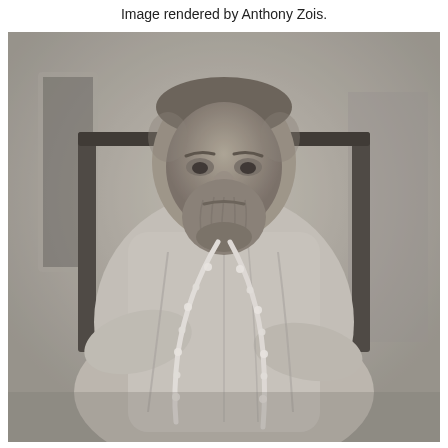Image rendered by Anthony Zois.
[Figure (photo): A black and white historical photograph of a bearded man seated in a chair. He is wearing a light-colored loose garment (kurta/tunic) and has a garland of flowers around his neck. He has a short beard and a serious expression. The background is plain and slightly textured. The photograph appears to be from the 19th or early 20th century.]